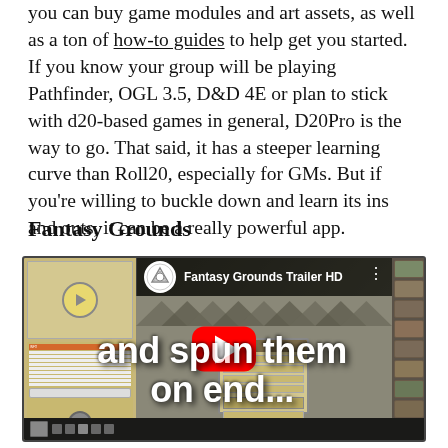you can buy game modules and art assets, as well as a ton of how-to guides to help get you started. If you know your group will be playing Pathfinder, OGL 3.5, D&D 4E or plan to stick with d20-based games in general, D20Pro is the way to go. That said, it has a steeper learning curve than Roll20, especially for GMs. But if you're willing to buckle down and learn its ins and outs, it can be a really powerful app.
Fantasy Grounds
[Figure (screenshot): YouTube embedded video thumbnail for 'Fantasy Grounds Trailer HD' showing the Fantasy Grounds virtual tabletop interface with text overlay reading 'and spun them on end...' and a YouTube play button]